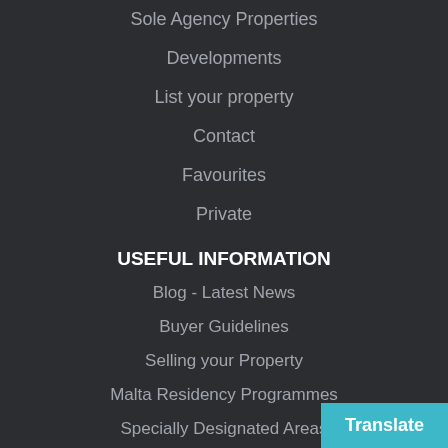Sole Agency Properties
Developments
List your property
Contact
Favourites
Private
USEFUL INFORMATION
Blog - Latest News
Buyer Guidelines
Selling your Property
Malta Residency Programmes
Specially Designated Areas
ABOUT MOVE2GOZO
move2Gozo is a boutique independent real
Translate